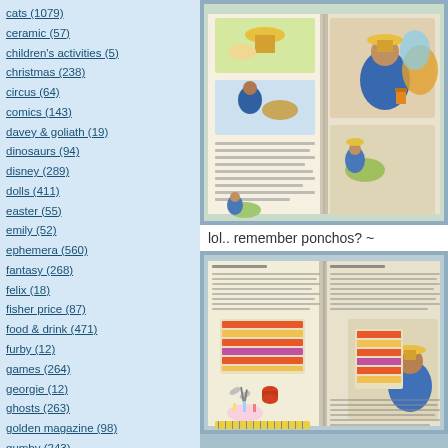cats (1079)
ceramic (57)
children's activities (5)
christmas (238)
circus (64)
comics (143)
davey & goliath (19)
dinosaurs (94)
disney (289)
dolls (411)
easter (55)
emily (52)
ephemera (560)
fantasy (268)
felix (18)
fisher price (87)
food & drink (471)
furby (12)
games (264)
georgie (12)
ghosts (263)
golden magazine (98)
gumby (243)
halloween (332)
hats (29)
holiday (520)
[Figure (photo): Open children's activity book showing colorful illustrated pages with Paddington Bear making bread dough, with step-by-step craft instructions]
lol.. remember ponchos? ~
[Figure (photo): Open children's activity book showing Paddington Bear making a poncho, with illustrated diagrams of striped poncho fabric and sewing tools]